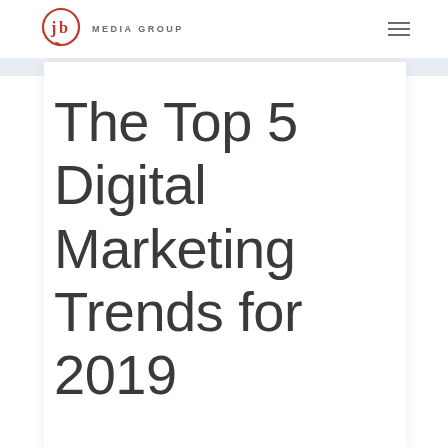JB MEDIA GROUP
The Top 5 Digital Marketing Trends for 2019